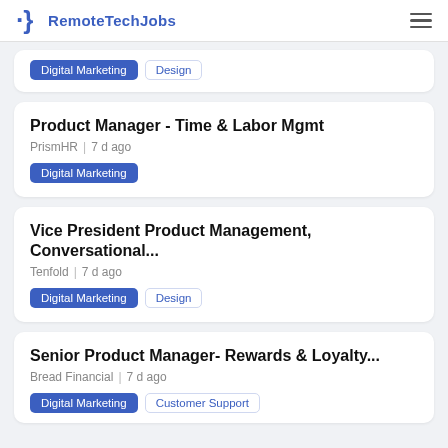RemoteTechJobs
Digital Marketing, Design (tags for partial card)
Product Manager - Time & Labor Mgmt | PrismHR | 7 d ago | Digital Marketing
Vice President Product Management, Conversational... | Tenfold | 7 d ago | Digital Marketing, Design
Senior Product Manager- Rewards & Loyalty... | Bread Financial | 7 d ago | Digital Marketing, Customer Support